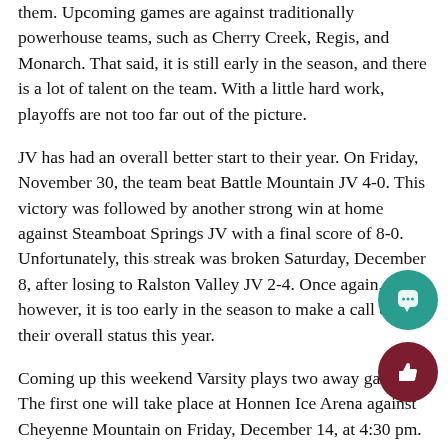them. Upcoming games are against traditionally powerhouse teams, such as Cherry Creek, Regis, and Monarch. That said, it is still early in the season, and there is a lot of talent on the team. With a little hard work, playoffs are not too far out of the picture.
JV has had an overall better start to their year. On Friday, November 30, the team beat Battle Mountain JV 4-0. This victory was followed by another strong win at home against Steamboat Springs JV with a final score of 8-0. Unfortunately, this streak was broken Saturday, December 8, after losing to Ralston Valley JV 2-4. Once again, however, it is too early in the season to make a call on their overall status this year.
Coming up this weekend Varsity plays two away games. The first one will take place at Honnen Ice Arena against Cheyenne Mountain on Friday, December 14, at 4:30 pm. The second game will be played the next day (Saturday, December 15) against Cherry Creek at Family Sports Center at 3:10 pm.